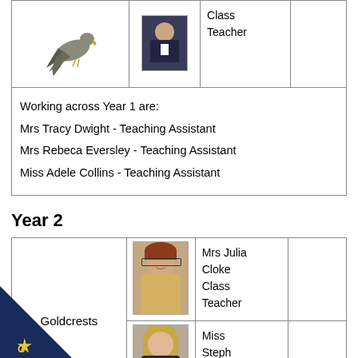| Class | Photo | Role |  |
| --- | --- | --- | --- |
| (bird image) | (teacher photo) | Class
Teacher |  |
Working across Year 1 are:
Mrs Tracy Dwight - Teaching Assistant
Mrs Rebeca Eversley - Teaching Assistant
Miss Adele Collins - Teaching Assistant
Year 2
| Class | Photo | Role |  |
| --- | --- | --- | --- |
| Goldcrests | (Julia Cloke photo) | Mrs Julia Cloke
Class Teacher |  |
|  | (Steph Golson photo) | Miss Steph Golson
Class |  |